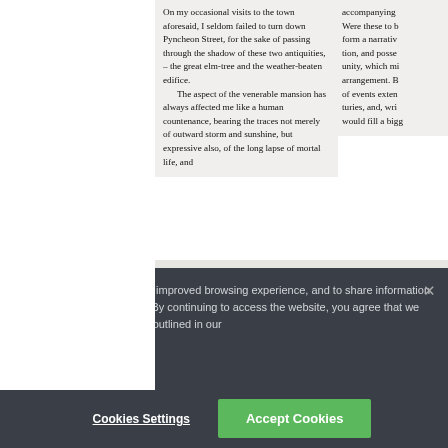On my occasional visits to the town aforesaid, I seldom failed to turn down Pyncheon Street, for the sake of passing through the shadow of these two antiquities, – the great elm-tree and the weather-beaten edifice.

The aspect of the venerable mansion has always affected me like a human countenance, bearing the traces not merely of outward storm and sunshine, but expressive also, of the long lapse of mortal life, and
accompanying Were these to b form a narrativ tion, and posse unity, which mi arrangement. B of events exter turies, and, wri would fill a bigg
A potentially attractive one-to-two column grid can m the margins are too narrow and the gutter too wide – an unbalanced layout.
We use cookies to enable an improved browsing experience, and to share information with our marketing partners. By continuing to access the website, you agree that we will store data in a cookie as outlined in our Privacy Policy.
Cookies Settings
Accept Cookies